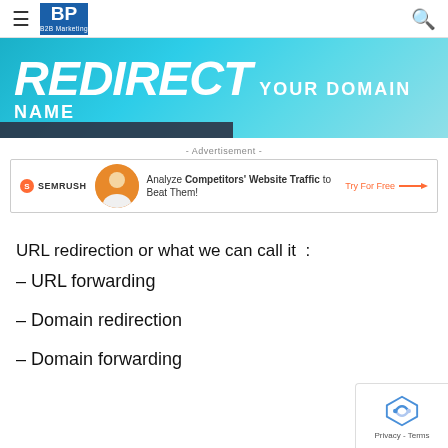BP B2B Marketing
[Figure (illustration): Hero banner with teal/cyan gradient background. Large bold italic white text 'REDIRECT' followed by smaller bold white text 'YOUR DOMAIN NAME'. Dark strip at bottom left.]
- Advertisement -
[Figure (infographic): Semrush advertisement. Logo on left, circular photo of person in center, text 'Analyze Competitors' Website Traffic to Beat Them!' and 'Try For Free' CTA with orange arrow.]
URL redirection or what we can call it  :
– URL forwarding
– Domain redirection
– Domain forwarding